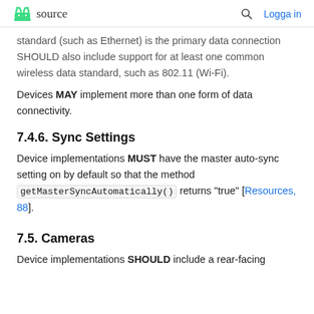source   Logga in
standard (such as Ethernet) is the primary data connection SHOULD also include support for at least one common wireless data standard, such as 802.11 (Wi-Fi).
Devices MAY implement more than one form of data connectivity.
7.4.6. Sync Settings
Device implementations MUST have the master auto-sync setting on by default so that the method getMasterSyncAutomatically() returns "true" [Resources, 88].
7.5. Cameras
Device implementations SHOULD include a rear-facing camera...